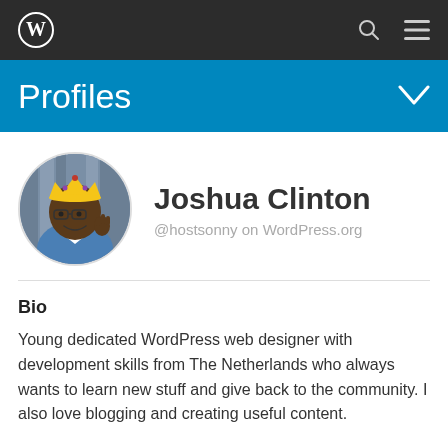WordPress navigation bar with logo, search icon, and menu icon
Profiles
[Figure (illustration): Circular avatar of Joshua Clinton — a cartoon/bitmoji style illustration of a person wearing a gold crown, glasses, and a blue jacket, gesturing with one hand. Background shows blurred bookshelves.]
Joshua Clinton
@hostsonny on WordPress.org
Bio
Young dedicated WordPress web designer with development skills from The Netherlands who always wants to learn new stuff and give back to the community. I also love blogging and creating useful content.